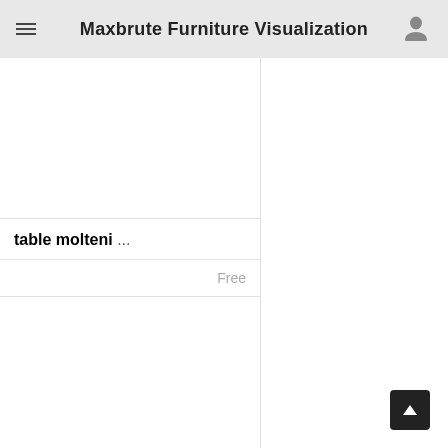Maxbrute Furniture Visualization
table molteni ...
Free